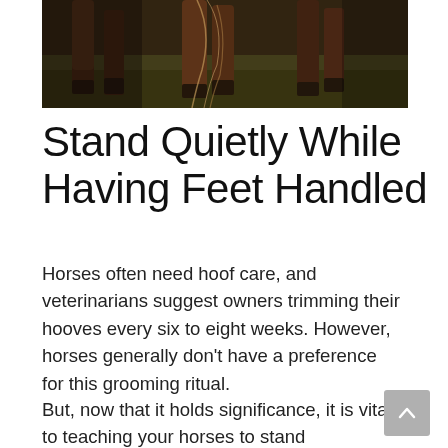[Figure (photo): Photo of horse legs and hooves on grass, close-up view from low angle showing lower legs and hooves of multiple horses standing on green grass with shadows]
Stand Quietly While Having Feet Handled
Horses often need hoof care, and veterinarians suggest owners trimming their hooves every six to eight weeks. However, horses generally don't have a preference for this grooming ritual.
But, now that it holds significance, it is vital to teaching your horses to stand